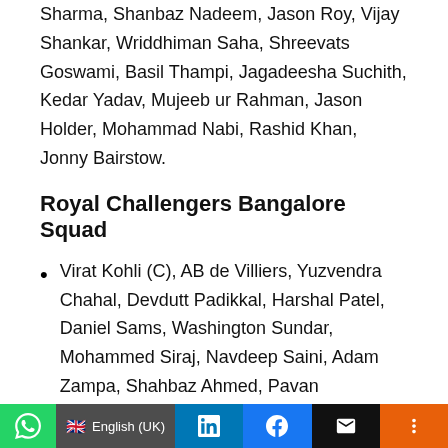Sharma, Shanbaz Nadeem, Jason Roy, Vijay Shankar, Wriddhiman Saha, Shreevats Goswami, Basil Thampi, Jagadeesha Suchith, Kedar Yadav, Mujeeb ur Rahman, Jason Holder, Mohammad Nabi, Rashid Khan, Jonny Bairstow.
Royal Challengers Bangalore Squad
Virat Kohli (C), AB de Villiers, Yuzvendra Chahal, Devdutt Padikkal, Harshal Patel, Daniel Sams, Washington Sundar, Mohammed Siraj, Navdeep Saini, Adam Zampa, Shahbaz Ahmed, Pavan Deshpande, Glenn Maxwell, Sachin Baby, Rajat Patidar, Mohammed Azharuddeen, Kyle Jamieson, Dan Christian, Suyesh Prabhudessai, K.S. Bharat,
WhatsApp | English (UK) | LinkedIn | Facebook | Email | More